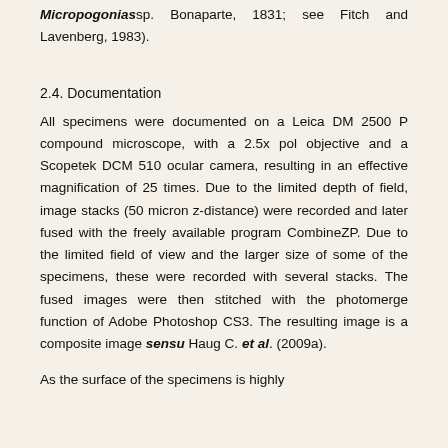Micropogonias sp. Bonaparte, 1831; see Fitch and Lavenberg, 1983).
2.4. Documentation
All specimens were documented on a Leica DM 2500 P compound microscope, with a 2.5x pol objective and a Scopetek DCM 510 ocular camera, resulting in an effective magnification of 25 times. Due to the limited depth of field, image stacks (50 micron z-distance) were recorded and later fused with the freely available program CombineZP. Due to the limited field of view and the larger size of some of the specimens, these were recorded with several stacks. The fused images were then stitched with the photomerge function of Adobe Photoshop CS3. The resulting image is a composite image sensu Haug C. et al. (2009a).
As the surface of the specimens is highly